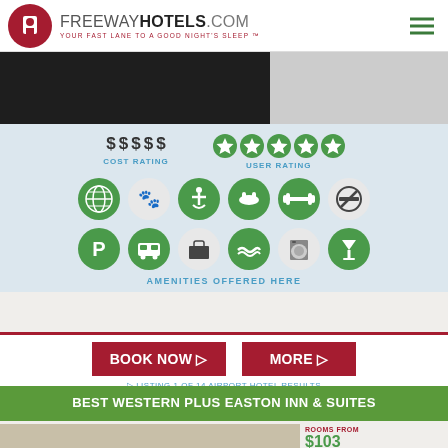FREEWAYHOTELS.COM YOUR FAST LANE TO A GOOD NIGHT'S SLEEP™
[Figure (photo): Hotel exterior/interior photo, partially cropped]
[Figure (infographic): Cost rating: 5 dollar signs, User rating: 5 stars, amenities icons: internet, pets, accessible, pool, fitness, no-smoking, parking, shuttle, business, pool bar, laundry, bar. Label: AMENITIES OFFERED HERE]
COST RATING
USER RATING
AMENITIES OFFERED HERE
BOOK NOW ▷
MORE ▷
▷ LISTING 1 OF 14 AIRPORT HOTEL RESULTS
BEST WESTERN PLUS EASTON INN & SUITES
ROOMS FROM $103 PER NIGHT
8708 ALICIA DR EASTON